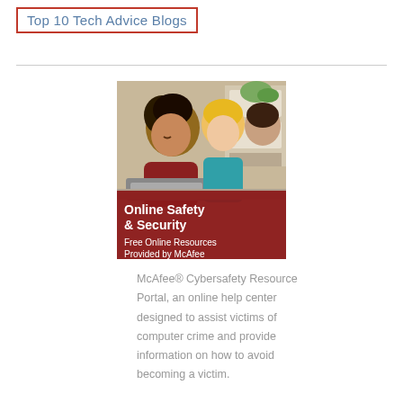Top 10 Tech Advice Blogs
[Figure (illustration): McAfee Online Safety & Security promotional image showing children at computers with text 'Online Safety & Security' and 'Free Online Resources Provided by McAfee' on a dark red banner overlay]
McAfee® Cybersafety Resource Portal, an online help center designed to assist victims of computer crime and provide information on how to avoid becoming a victim.